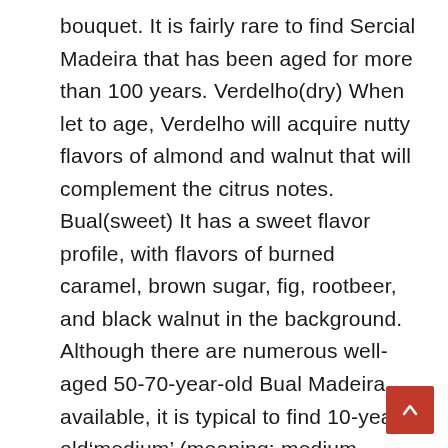bouquet. It is fairly rare to find Sercial Madeira that has been aged for more than 100 years. Verdelho(dry) When let to age, Verdelho will acquire nutty flavors of almond and walnut that will complement the citrus notes. Bual(sweet) It has a sweet flavor profile, with flavors of burned caramel, brown sugar, fig, rootbeer, and black walnut in the background. Although there are numerous well-aged 50-70-year-old Bual Madeira available, it is typical to find 10-year-old‘medium’ (meaning: medium sweet) Bual Madeira. Malmsey(sweet) Malmsey Madeiras